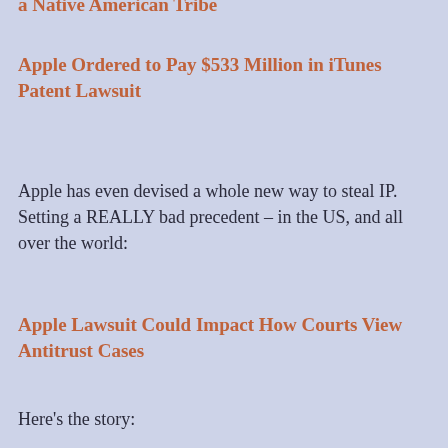a Native American Tribe
Apple Ordered to Pay $533 Million in iTunes Patent Lawsuit
Apple has even devised a whole new way to steal IP. Setting a REALLY bad precedent – in the US, and all over the world:
Apple Lawsuit Could Impact How Courts View Antitrust Cases
Here's the story:
Apple hasn't paid uber-inventor Qualcomm for its wireless device patents – since April of 2017.
Qualcomm Sues Apple Over Patents, Seeks Limited Ban on iPhone Imports